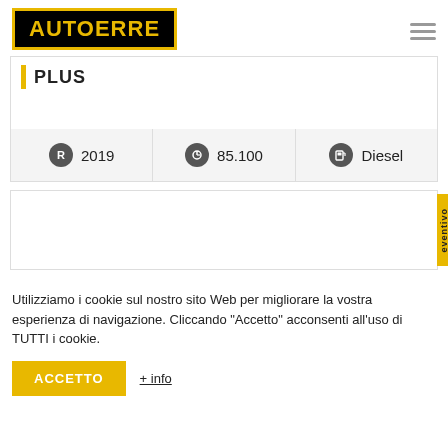[Figure (logo): AUTOERRE logo — black background with yellow border and yellow bold text]
PLUS
| Year | Mileage | Fuel |
| --- | --- | --- |
| R 2019 | 85.100 | Diesel |
Utilizziamo i cookie sul nostro sito Web per migliorare la vostra esperienza di navigazione. Cliccando "Accetto" acconsenti all'uso di TUTTI i cookie.
ACCETTO   + info